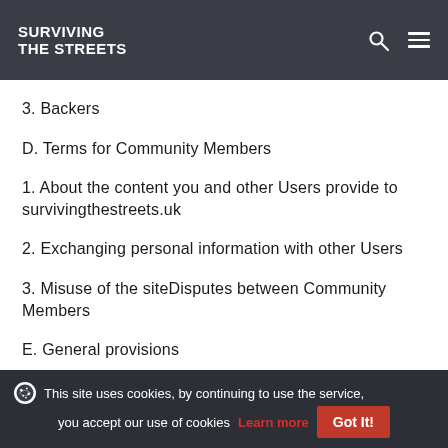SURVIVING THE STREETS
3. Backers
D. Terms for Community Members
1. About the content you and other Users provide to survivingthestreets.uk
2. Exchanging personal information with other Users
3. Misuse of the siteDisputes between Community Members
E. General provisions
2. Third-party software
This site uses cookies, by continuing to use the service, you accept our use of cookies Learn more Got It!